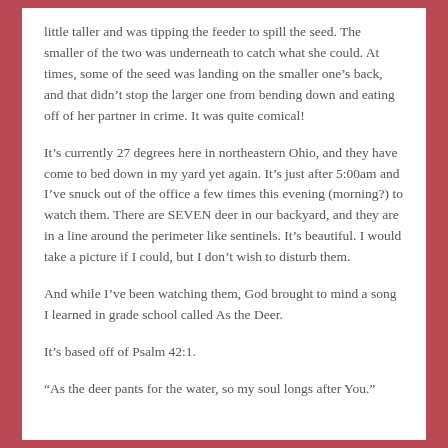little taller and was tipping the feeder to spill the seed. The smaller of the two was underneath to catch what she could. At times, some of the seed was landing on the smaller one's back, and that didn't stop the larger one from bending down and eating off of her partner in crime. It was quite comical!
It's currently 27 degrees here in northeastern Ohio, and they have come to bed down in my yard yet again. It's just after 5:00am and I've snuck out of the office a few times this evening (morning?) to watch them. There are SEVEN deer in our backyard, and they are in a line around the perimeter like sentinels. It's beautiful. I would take a picture if I could, but I don't wish to disturb them.
And while I've been watching them, God brought to mind a song I learned in grade school called As the Deer.
It's based off of Psalm 42:1.
“As the deer pants for the water, so my soul longs after You.”